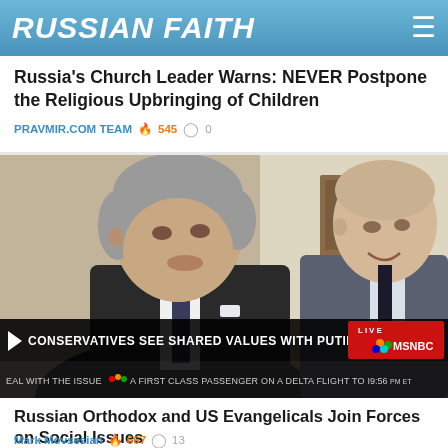RUSSIAN FAITH
Russia's Church Leader Warns: NEVER Postpone the Religious Upbringing of Children
PRAVMIR.COM TEAM 🔥 545 💬 0
[Figure (photo): Two men in suits facing each other in conversation, with MSNBC broadcast lower-third overlay reading: CONSERVATIVES SEE SHARED VALUES WITH PUTIN'S RUSSIA. LIVE MSNBC 9:56 PM ET. Ticker below reads: EAL WITH THE ISSUE A FIRST CLASS PASSENGER ON A DELTA FLIGHT TO I]
Russian Orthodox and US Evangelicals Join Forces on Social Issues
Mark Movsesian 🔥 667 💬 13